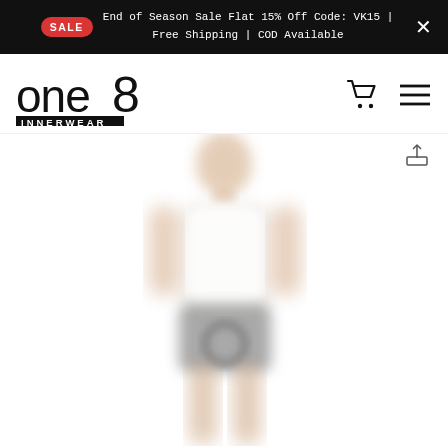SALE — End of Season Sale Flat 15% Off Code: VK15 | Free Shipping | COD Available
[Figure (logo): One8 Innerwear brand logo — stylized 'one8' text with INNERWEAR below in a black box]
[Figure (photo): Blurred/loading product photo of a male mannequin wearing white innerwear vest and grey shorts/briefs on white background]